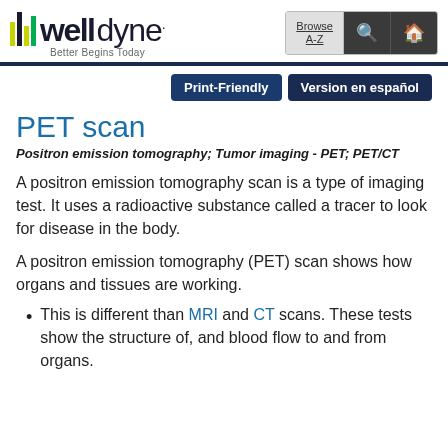welldyne. Better Begins Today | Browse A-Z | Search | Home
Print-Friendly | Version en español
PET scan
Positron emission tomography; Tumor imaging - PET; PET/CT
A positron emission tomography scan is a type of imaging test. It uses a radioactive substance called a tracer to look for disease in the body.
A positron emission tomography (PET) scan shows how organs and tissues are working.
This is different than MRI and CT scans. These tests show the structure of, and blood flow to and from organs.